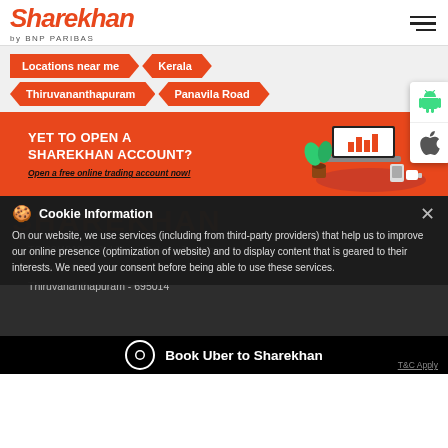Sharekhan by BNP PARIBAS
Locations near me > Kerala > Thiruvananthapuram > Panavila Road
[Figure (illustration): Promotional banner: YET TO OPEN A SHAREKHAN ACCOUNT? Open a free online trading account now! With laptop/trading illustration and Android/iOS app badge icons.]
SHAREKHAN
Cookie Information
On our website, we use services (including from third-party providers) that help us to improve our online presence (optimization of website) and to display content that is geared to their interests. We need your consent before being able to use these services.
TC 20/4012/3, 3rd Floor, Bakery Junction
Panavila Road
Thiruvananthapuram - 695014
Book Uber to Sharekhan    T&C Apply